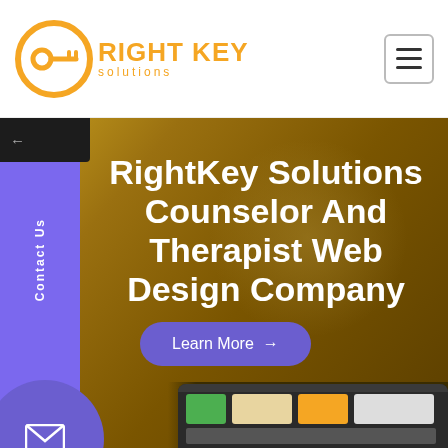[Figure (logo): Right Key Solutions logo — orange circle with key icon, text RIGHT KEY in orange bold, solutions in orange below]
RightKey Solutions Counselor And Therapist Web Design Company
Learn More →
[Figure (screenshot): Tablet/device mockup showing a website at the bottom of the hero section]